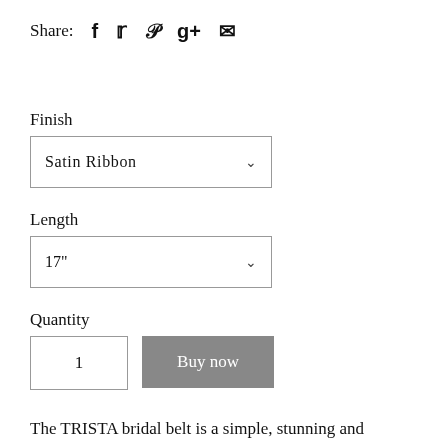Share: f 𝕥 p g+ ✉
Finish
Satin Ribbon
Length
17"
Quantity
1
Buy now
The TRISTA bridal belt is a simple, stunning and dainty addition to your dream dress. It includes a